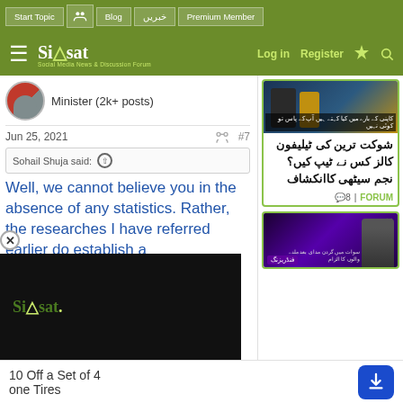Siasat.pk forum navigation bar with links: Start Topic, Blog, خبریں, Premium Member; Log in, Register
Minister (2k+ posts)
Jun 25, 2021  #7
Sohail Shuja said:
Well, we cannot believe you in the absence of any statistics. Rather, the researches I have referred earlier do establish a thing
[Figure (screenshot): Siasat.pk video player overlay with logo on dark background]
[Figure (photo): Sidebar news image showing suited figures, with Urdu caption overlay]
شوکت ترین کی ٹیلیفون کالز کس نے ٹیپ کیں؟نجم سیٹھی کاانکشاف
8 | FORUM
[Figure (photo): Sidebar news image with purple background and person silhouette, Urdu text overlay]
10 Off a Set of 4 one Tires